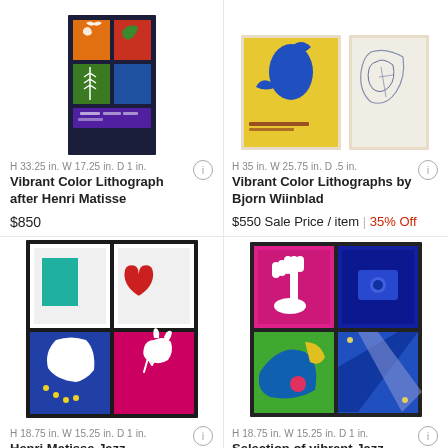[Figure (photo): Vibrant color lithograph after Henri Matisse — colorful framed poster with cut-out shapes in orange, red, green, blue panels]
H 33.25 in. W 17.25 in. D 1 in.
Vibrant Color Lithograph after Henri Matisse
$850
[Figure (photo): Two framed prints side by side — left shows blue bird/figure on yellow, right shows abstract line drawing on cream]
H 35 in. W 25.75 in. D .5 in.
Vibrant Color Lithographs by Bjorn Wiinblad
$550 Sale Price / item | 35% Off
[Figure (photo): 2x2 grid of framed Matisse Jazz lithographs: top-left teal rectangle on white; top-right red heart shape; bottom-left white silhouette on blue; bottom-right white rabbit on red/purple]
H 18.75 in. W 15.25 in. D 1 in.
Henri Matisse Jazz Lithographs
$550
[Figure (photo): 2x2 grid of colorful Jazz series offset lithographs: top-left pink background with white hand; top-right blue with geometric shapes; bottom-left green/blue abstract; bottom-right blue with diagonal shapes]
H 18.75 in. W 15.25 in. D 1 in.
Selection of vibrant Jazz series offset lithographs...
$550